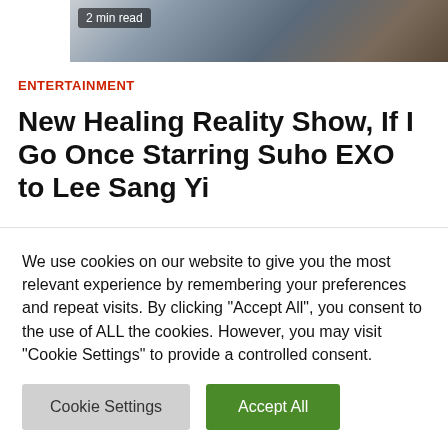[Figure (photo): Partial view of people in a group photo, cropped at top of page with '2 min read' badge overlay]
ENTERTAINMENT
New Healing Reality Show, If I Go Once Starring Suho EXO to Lee Sang Yi
2 weeks ago   jasabacklink
South Korea is currently preparing a lot of themed entertainment programs traveling. This is referred
We use cookies on our website to give you the most relevant experience by remembering your preferences and repeat visits. By clicking "Accept All", you consent to the use of ALL the cookies. However, you may visit "Cookie Settings" to provide a controlled consent.